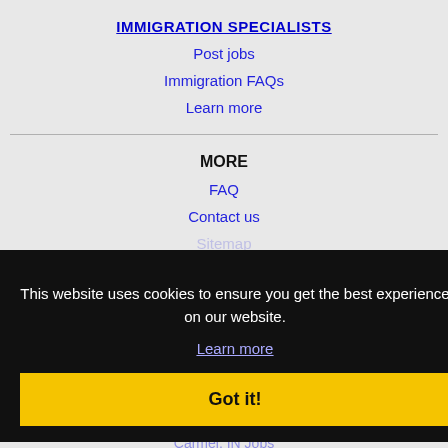IMMIGRATION SPECIALISTS
Post jobs
Immigration FAQs
Learn more
MORE
FAQ
Contact us
Sitemap
This website uses cookies to ensure you get the best experience on our website.
Learn more
Got it!
NEARBY CITIES
Anderson, IN Jobs
Battle Creek, MI Jobs
Carmel, IN Jobs